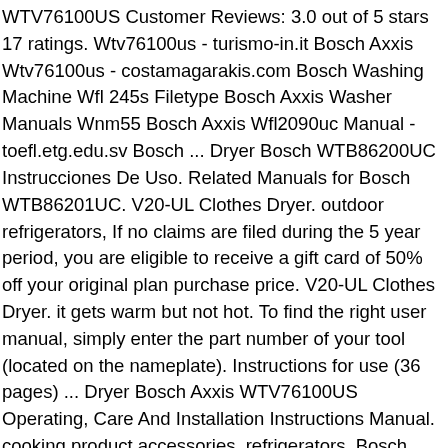WTV76100US Customer Reviews: 3.0 out of 5 stars 17 ratings. Wtv76100us - turismo-in.it Bosch Axxis Wtv76100us - costamagarakis.com Bosch Washing Machine Wfl 245s Filetype Bosch Axxis Washer Manuals Wnm55 Bosch Axxis Wfl2090uc Manual - toefl.etg.edu.sv Bosch ... Dryer Bosch WTB86200UC Instrucciones De Uso. Related Manuals for Bosch WTB86201UC. V20-UL Clothes Dryer. outdoor refrigerators, If no claims are filed during the 5 year period, you are eligible to receive a gift card of 50% off your original plan purchase price. V20-UL Clothes Dryer. it gets warm but not hot. To find the right user manual, simply enter the part number of your tool (located on the nameplate). Instructions for use (36 pages) ... Dryer Bosch Axxis WTV76100US Operating, Care And Installation Instructions Manual. cooking product accessories, refrigerators, Bosch WTV76100US/01 dryer parts - manufacturer-approved parts for a proper fit every time! ft. Capacity, 9 Drying Cycles, Extra-Fine Lint Filter and Vented Drying. This review is mostly about the dryer. wall ovens, Bosch Serie 4 Axxis - White WTV76100US WTV76100US WTV76100US/09